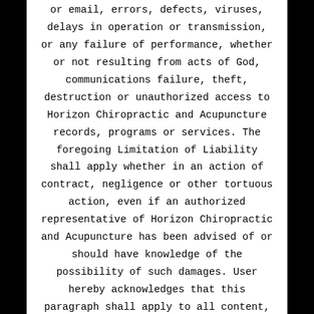or email, errors, defects, viruses, delays in operation or transmission, or any failure of performance, whether or not resulting from acts of God, communications failure, theft, destruction or unauthorized access to Horizon Chiropractic and Acupuncture records, programs or services. The foregoing Limitation of Liability shall apply whether in an action of contract, negligence or other tortuous action, even if an authorized representative of Horizon Chiropractic and Acupuncture has been advised of or should have knowledge of the possibility of such damages. User hereby acknowledges that this paragraph shall apply to all content, merchandise and services available through Horizon